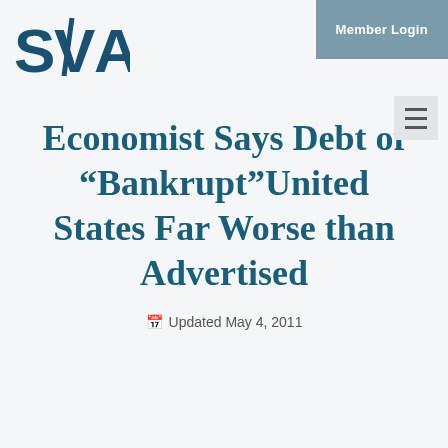[Figure (logo): SVIA logo in dark teal/navy blue with stylized lettering]
Member Login
Economist Says Debt of “Bankrupt”United States Far Worse than Advertised
Updated May 4, 2011